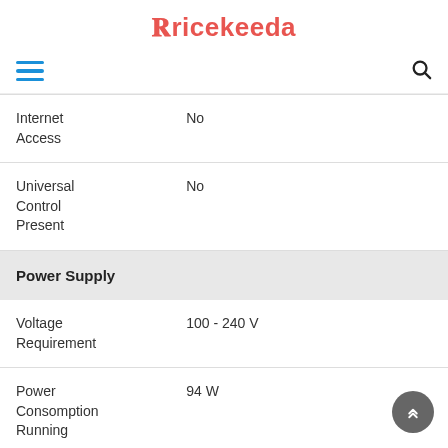Pricekeeda
| Internet Access | No |
| Universal Control Present | No |
| Power Supply |  |
| Voltage Requirement | 100 - 240 V |
| Power Consomption Running | 94 W |